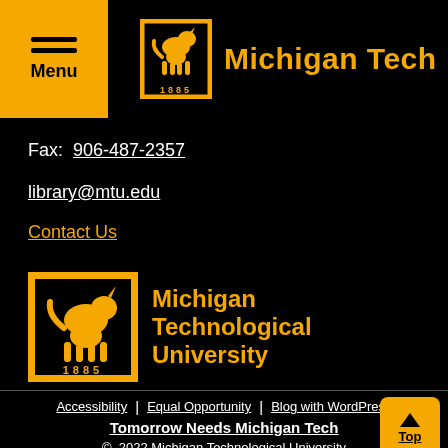Menu | Michigan Tech
Fax: 906-487-2357
library@mtu.edu
Contact Us
[Figure (logo): Michigan Technological University logo with wolf and 1885, gold on black]
Accessibility | Equal Opportunity | Blog with WordPress
Tomorrow Needs Michigan Tech
© 2022 Michigan Technological University